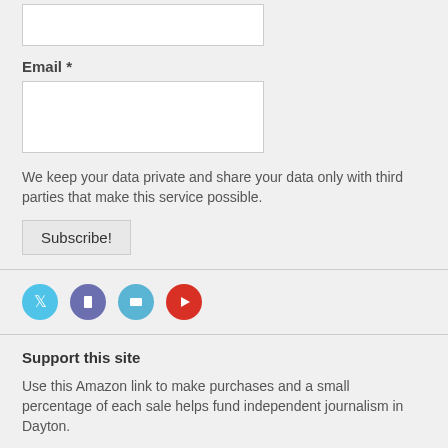Email *
We keep your data private and share your data only with third parties that make this service possible.
Subscribe!
[Figure (infographic): Four social media icon circles: Twitter (light blue), Facebook (purple/blue), LinkedIn (light blue), YouTube (red)]
Support this site
Use this Amazon link to make purchases and a small percentage of each sale helps fund independent journalism in Dayton.